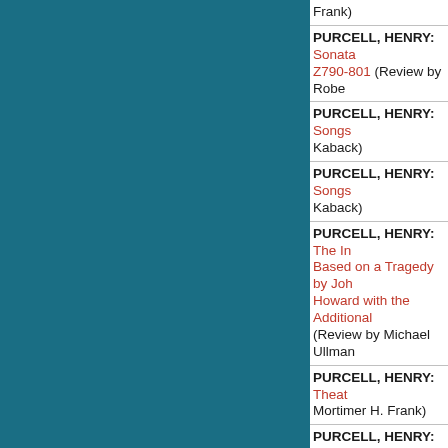Frank)
PURCELL, HENRY: Sonata... Z790-801 (Review by Robe...
PURCELL, HENRY: Songs... Kaback)
PURCELL, HENRY: Songs... Kaback)
PURCELL, HENRY: The In... Based on a Tragedy by Joh... Howard with the Additional... (Review by Michael Ullman...
PURCELL, HENRY: Theat... Mortimer H. Frank)
PURCELL, HENRY: Theat... Mortimer H. Frank)
PURCELL, HENRY: Theat... Mortimer H. Frank)
PURCELL, HENRY: Theat... by Michael Ullman)
RAMSEY, ROBERT: What... Serve (Review by Edward S...
RAMSEY, ROBERT: What... Serve (Review by Edward S...
RAMSEY, ROBERT: What... Serve (Review by Edward S...